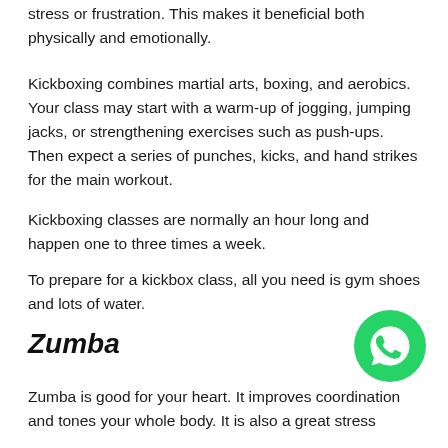stress or frustration. This makes it beneficial both physically and emotionally.
Kickboxing combines martial arts, boxing, and aerobics. Your class may start with a warm-up of jogging, jumping jacks, or strengthening exercises such as push-ups. Then expect a series of punches, kicks, and hand strikes for the main workout.
Kickboxing classes are normally an hour long and happen one to three times a week.
To prepare for a kickbox class, all you need is gym shoes and lots of water.
Zumba
[Figure (logo): WhatsApp logo — green circle with white phone/chat icon]
Zumba is good for your heart. It improves coordination and tones your whole body. It is also a great stress